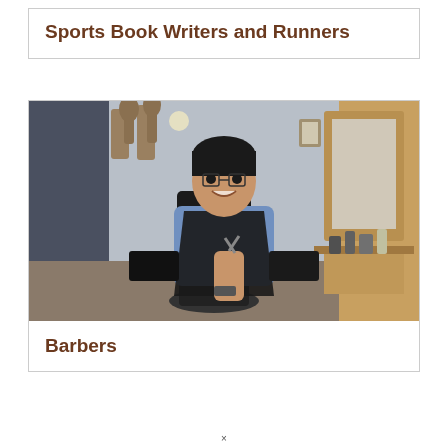Sports Book Writers and Runners
[Figure (photo): A smiling young man wearing a blue button-up shirt and black apron holding scissors, sitting in a barber chair inside a barbershop with wooden mirror frame and shelves in background.]
Barbers